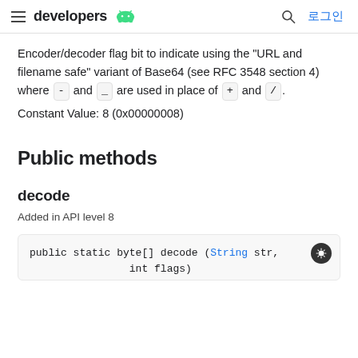developers | 로그인
Encoder/decoder flag bit to indicate using the "URL and filename safe" variant of Base64 (see RFC 3548 section 4) where - and _ are used in place of + and /.
Constant Value: 8 (0x00000008)
Public methods
decode
Added in API level 8
public static byte[] decode (String str,
                int flags)